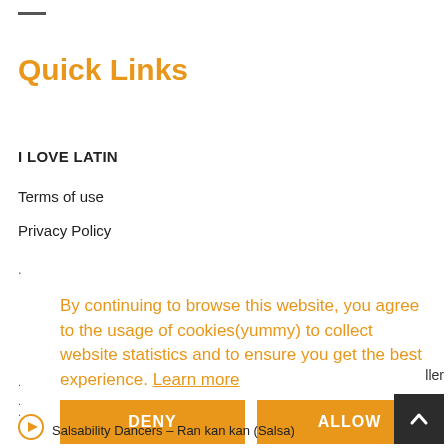Quick Links
I LOVE LATIN
Terms of use
Privacy Policy
By continuing to browse this website, you agree to the usage of cookies(yummy) to collect website statistics and to ensure you get the best experience. Learn more
DENY
ALLOW
ller
Salsability Dancers – Ran kan kan (Salsa)